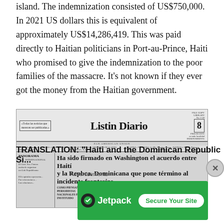island. The indemnization consisted of US$750,000. In 2021 US dollars this is equivalent of approximately US$14,286,419. This was paid directly to Haitian politicians in Port-au-Prince, Haiti who promised to give the indemnization to the poor families of the massacre. It's not known if they ever got the money from the Haitian government.
[Figure (photo): Scanned front page of Listin Diario newspaper. Headline in Spanish: 'Ha sido firmado en Washington el acuerdo entre Haiti y la Repbca. Dominicana que pone termino al incidente fronterizo'. Sub-headline mentions El Lic. E. Brache hijo juzga que el Hon. Pdte. Trujillo debe ser...]
TRANSLATION: "Haiti and the Dominican Republic Si...
Advertisements
[Figure (other): Jetpack advertisement banner with green background showing Jetpack logo and 'Secure Your Site' button]